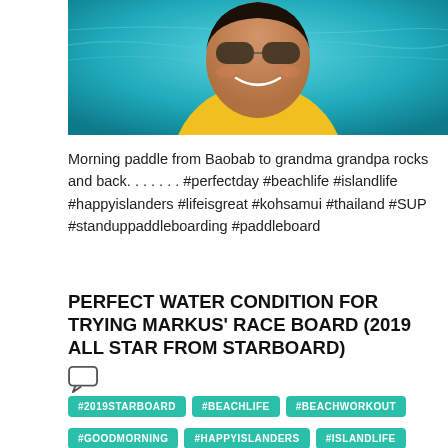[Figure (photo): Smiling woman wearing sunglasses and yellow top, with turquoise water in background, selfie style photo]
Morning paddle from Baobab to grandma grandpa rocks and back. . . . . . . #perfectday #beachlife #islandlife #happyislanders #lifeisgreat #kohsamui #thailand #SUP #standuppaddleboarding #paddleboard
PERFECT WATER CONDITION FOR TRYING MARKUS' RACE BOARD (2019 ALL STAR FROM STARBOARD)
[Figure (illustration): Comment/chat icon]
#2019STARBOARD #BEACHLIFE #BEACHWORKOUT #GOODMORNING #HAPPYISLANDERS #ISLANDLIFE